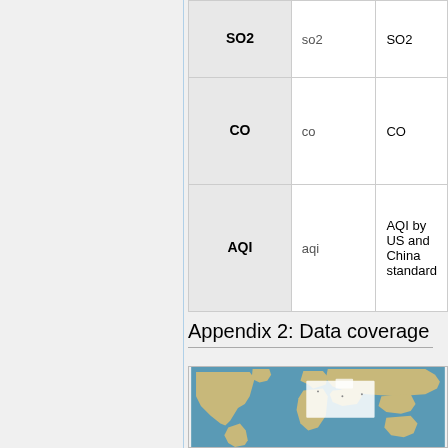| Name | API param | Description |
| --- | --- | --- |
| SO2 | so2 | SO2 |
| CO | co | CO |
| AQI | aqi | AQI by US and China standard |
Appendix 2: Data coverage
[Figure (map): World map showing data coverage with highlighted regions including Europe and parts of Asia]